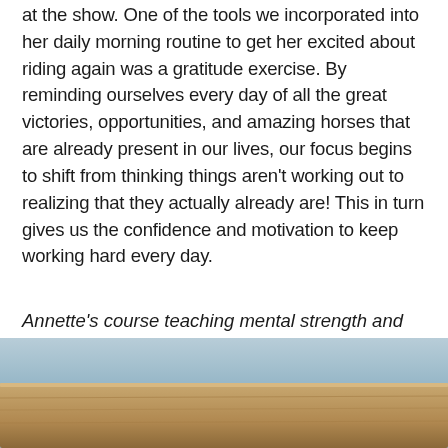at the show. One of the tools we incorporated into her daily morning routine to get her excited about riding again was a gratitude exercise. By reminding ourselves every day of all the great victories, opportunities, and amazing horses that are already present in our lives, our focus begins to shift from thinking things aren't working out to realizing that they actually already are! This in turn gives us the confidence and motivation to keep working hard every day.
Annette's course teaching mental strength and becoming a confident rider will be released soon on Insider Masterclass. Learn more.
[Figure (photo): Partial view of a wooden surface or fence top with a blue sky background, cropped at the bottom of the page.]